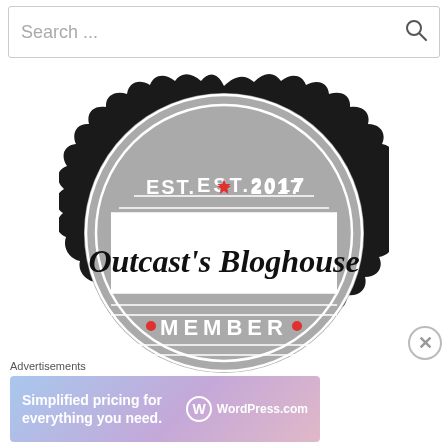[Figure (other): Search bar with placeholder text 'Search ...' and a magnifying glass icon on the right]
[Figure (logo): Badge/seal logo for 'Outcast's Bloghouse Member' - established 2017. Gray scalloped circular badge with black outer ring, showing 'EST. ★ 2017' at top with a red star, 'Outcast's Bloghouse' in cursive script in white central band, and 'MEMBER' in white bold caps at bottom with red dot decorators.]
Advertisements
[Figure (screenshot): Advertisement banner for WordPress.com with text 'Simplified pricing for everything you need.' on a blue-purple gradient background with WordPress logo on the right]